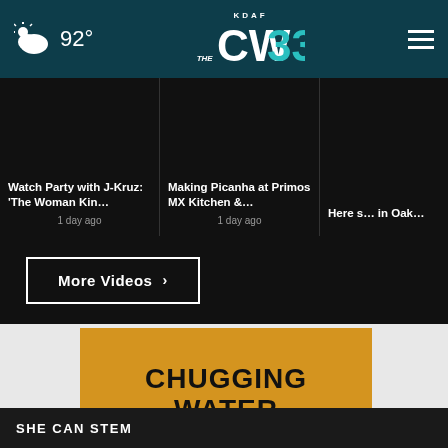KDAF CW 33 — 92°
Watch Party with J-Kruz: 'The Woman Kin… — 1 day ago
Making Picanha at Primos MX Kitchen &… — 1 day ago
Here s… in Oak… — 1 day ago
More Videos ›
[Figure (infographic): CHUGGING WATER infographic on golden/amber background with a water glass icon and SHE CAN STEM banner at bottom]
SHE CAN STEM